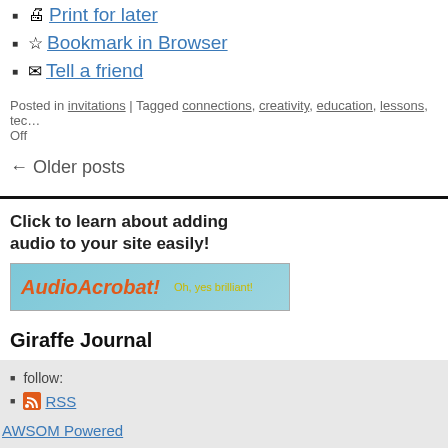Print for later
Bookmark in Browser
Tell a friend
Posted in invitations | Tagged connections, creativity, education, lessons, tec... Off
← Older posts
Click to learn about adding audio to your site easily!
[Figure (other): AudioAcrobat banner advertisement with orange logo text and teal background with tagline 'Oh, yes brilliant!']
Giraffe Journal
follow:
RSS
AWSOM Powered